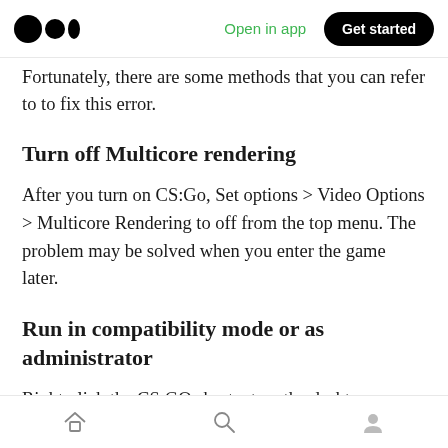Open in app | Get started
Fortunately, there are some methods that you can refer to to fix this error.
Turn off Multicore rendering
After you turn on CS:Go, Set options > Video Options > Multicore Rendering to off from the top menu. The problem may be solved when you enter the game later.
Run in compatibility mode or as administrator
Right-click the CS:GO shortcut on the desktop
Home | Search | Profile